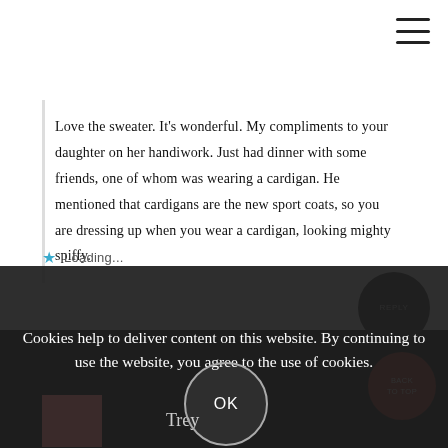[Figure (screenshot): Hamburger/menu icon in top right corner with three horizontal lines]
Love the sweater. It's wonderful. My compliments to your daughter on her handiwork. Just had dinner with some friends, one of whom was wearing a cardigan. He mentioned that cardigans are the new sport coats, so you are dressing up when you wear a cardigan, looking mighty spiffy.
★ Loading...
Cookies help to deliver content on this website. By continuing to use the website, you agree to the use of cookies.
OK
Trey